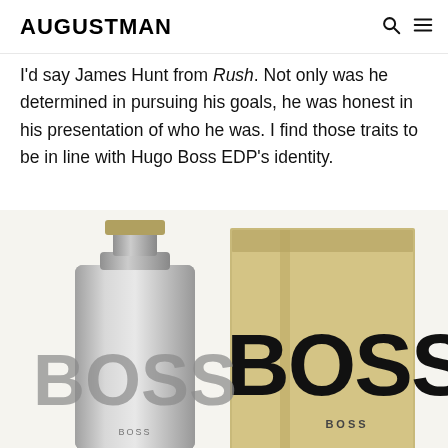AUGUSTMAN
I'd say James Hunt from Rush. Not only was he determined in pursuing his goals, he was honest in his presentation of who he was. I find those traits to be in line with Hugo Boss EDP's identity.
[Figure (photo): Hugo Boss Bottled EDP fragrance bottle (silver/chrome) next to its gold/champagne colored box packaging, both featuring large BOSS lettering]